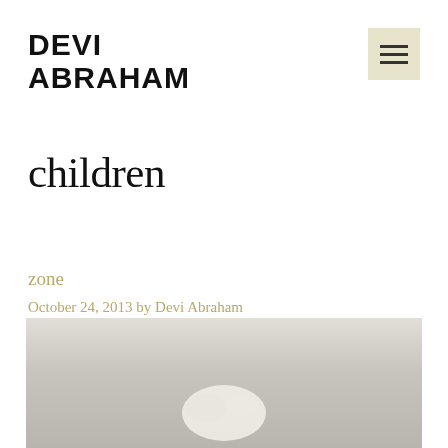DEVI ABRAHAM
children
zone
October 24, 2013 by Devi Abraham
[Figure (photo): Partial photo at bottom of page showing a light-colored object on a grey/sandy textured background]